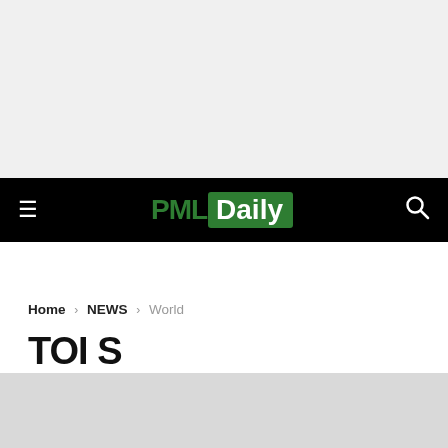PML Daily — navigation bar with hamburger menu, PML Daily logo, search icon
Home › NEWS › World
TOI S...